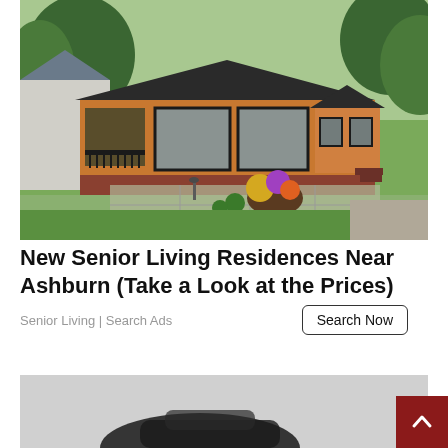[Figure (photo): Photo of a modern single-storey home with orange/brown wood cladding, black-framed windows and deck, brick foundation, patio with flowers and topiary, green lawn and trees in background.]
New Senior Living Residences Near Ashburn (Take a Look at the Prices)
Senior Living | Search Ads
[Figure (photo): Partial photo of a dark-colored car on a gray background, partially cropped.]